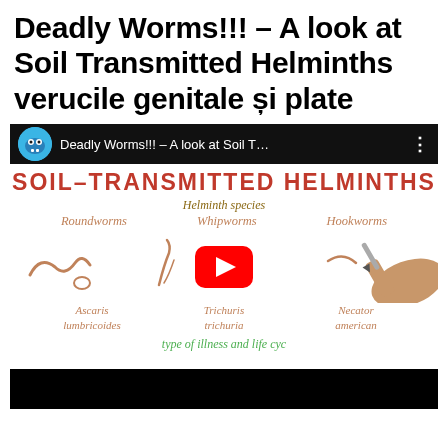Deadly Worms!!! – A look at Soil Transmitted Helminths verucile genitale și plate
[Figure (screenshot): YouTube video thumbnail showing a whiteboard animation about Soil-Transmitted Helminths, with title bar, worm species (Roundworms, Whipworms, Hookworms), scientific names (Ascaris lumbricoides, Trichuris trichuria, Necator americanus), and a hand drawing. Play button overlay visible.]